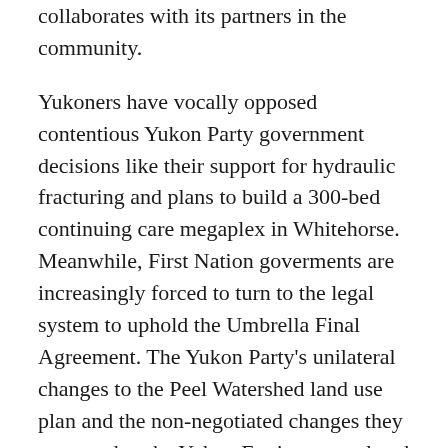collaborates with its partners in the community.
Yukoners have vocally opposed contentious Yukon Party government decisions like their support for hydraulic fracturing and plans to build a 300-bed continuing care megaplex in Whitehorse. Meanwhile, First Nation goverments are increasingly forced to turn to the legal system to uphold the Umbrella Final Agreement. The Yukon Party's unilateral changes to the Peel Watershed land use plan and the non-negotiated changes they proposed to the Yukon Environmental and Socio-economic Assessment Act through Bill S-6 undermine the relationship between the Yukon government and First Nation goverments.
In contrast to the Yukon Party, the Yukon NDP has a proven track record of consultation and cooperation with community stakeholders. This spring, the Yukon NDP caucus hit the road for the 17-stop Sustainable and Prosperous Communities Tour to better understand the